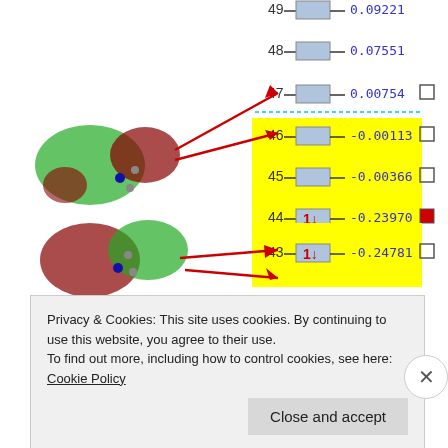[Figure (other): Molecular orbital energy level diagram showing orbitals 40-49. Left side shows 3D molecular orbital visualizations (green/red lobes) for several orbitals. Center shows an energy level diagram with orbital numbers (40-49), electron occupation indicators (arrows for filled orbitals, empty boxes for virtual), and energy values in Hartrees. Yellow highlighting marks orbitals 41-47. A teal dotted line separates HOMO/LUMO. Right side shows red/gray square checkboxes. Red arrows point from molecular images to corresponding energy levels.]
Privacy & Cookies: This site uses cookies. By continuing to use this website, you agree to their use.
To find out more, including how to control cookies, see here: Cookie Policy